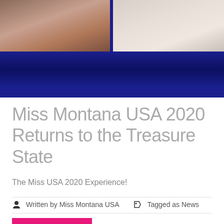[Figure (photo): Two photos side by side showing women, with a dark blue/navy background bar below them.]
Miss Montana USA 2020 Returns to the Treasure State
The Miss USA 2020 Experience!
Written by Miss Montana USA   Tagged as News
Read More